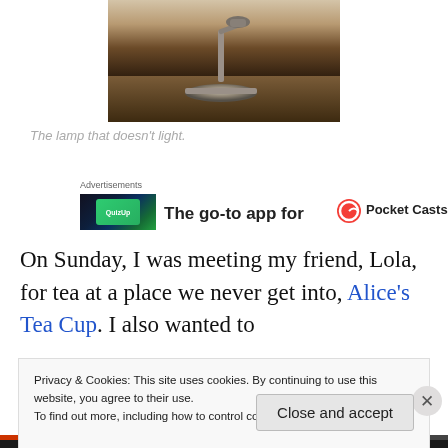[Figure (photo): A lamp with a metal base and stem on a wooden surface, partially lit room background.]
The lamp that doesn't light.
[Figure (other): Advertisement banner: image of QuizUp/green card app, text 'The go-to app for', Pocket Casts logo and text.]
On Sunday, I was meeting my friend, Lola, for tea at a place we never get into, Alice's Tea Cup. I also wanted to
Privacy & Cookies: This site uses cookies. By continuing to use this website, you agree to their use.
To find out more, including how to control cookies, see here: Cookie Policy
Close and accept